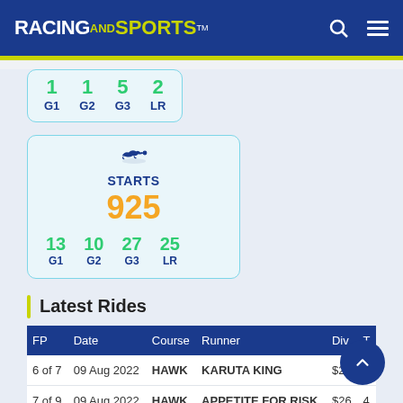RACING AND SPORTS
[Figure (infographic): Stats card (partial) showing wins: 1 G1, 1 G2, 5 G3, 2 LR]
[Figure (infographic): STARTS card showing 925 total starts with 13 G1, 10 G2, 27 G3, 25 LR]
Latest Rides
| FP | Date | Course | Runner | Div | T |
| --- | --- | --- | --- | --- | --- |
| 6 of 7 | 09 Aug 2022 | HAWK | KARUTA KING | $2... |  |
| 7 of 9 | 09 Aug 2022 | HAWK | APPETITE FOR RISK | $26 | 4... |